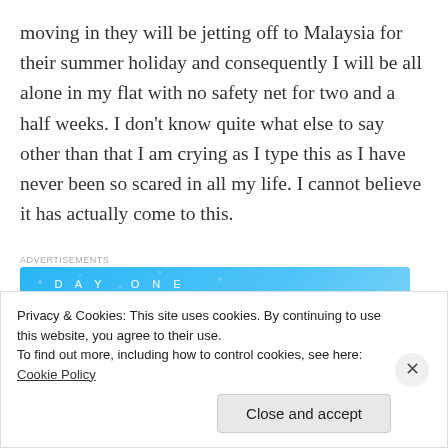moving in they will be jetting off to Malaysia for their summer holiday and consequently I will be all alone in my flat with no safety net for two and a half weeks. I don't know quite what else to say other than that I am crying as I type this as I have never been so scared in all my life. I cannot believe it has actually come to this.
[Figure (other): Advertisement banner for Day One journaling app with blue background, app icons, and text 'The only journaling app you'll ever need.']
My parents have mentioned that they couldn't cope
Privacy & Cookies: This site uses cookies. By continuing to use this website, you agree to their use.
To find out more, including how to control cookies, see here: Cookie Policy